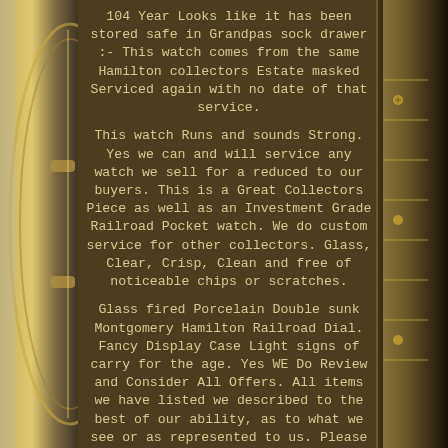[Figure (photo): Left side photo of a gold pocket watch case edge and partial watch movement]
104 Year Looks like it has been stored safe in Grandpas sock drawer :- This watch comes from the same Hamilton collectors Estate masked Serviced again with no date of that service.

This watch Runs and sounds Strong. Yes we can and will service any watch we sell for a reduced to our buyers. This is a Great Collectors Piece as well as an Investment Grade Railroad Pocket watch. We do custom service for other collectors. Glass, Clear, Crisp, Clean and free of noticeable chips or scratches.

Glass fired Porcelain Double sunk Montgomery Hamilton Railroad Dial. Fancy Display Case Light signs of carry for the age. Yes WE Do Review and Consider All Offers. All items we have listed we described to the best of our ability, as to what we see or as represented to us. Please look closely at the photos we have provided and ask any questions you may have.
[Figure (photo): Right side photo of a gold pocket watch showing the movement/gears]